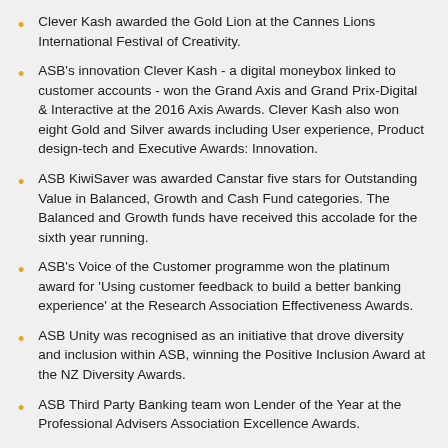Clever Kash awarded the Gold Lion at the Cannes Lions International Festival of Creativity.
ASB's innovation Clever Kash - a digital moneybox linked to customer accounts - won the Grand Axis and Grand Prix-Digital & Interactive at the 2016 Axis Awards. Clever Kash also won eight Gold and Silver awards including User experience, Product design-tech and Executive Awards: Innovation.
ASB KiwiSaver was awarded Canstar five stars for Outstanding Value in Balanced, Growth and Cash Fund categories. The Balanced and Growth funds have received this accolade for the sixth year running.
ASB's Voice of the Customer programme won the platinum award for 'Using customer feedback to build a better banking experience' at the Research Association Effectiveness Awards.
ASB Unity was recognised as an initiative that drove diversity and inclusion within ASB, winning the Positive Inclusion Award at the NZ Diversity Awards.
ASB Third Party Banking team won Lender of the Year at the Professional Advisers Association Excellence Awards.